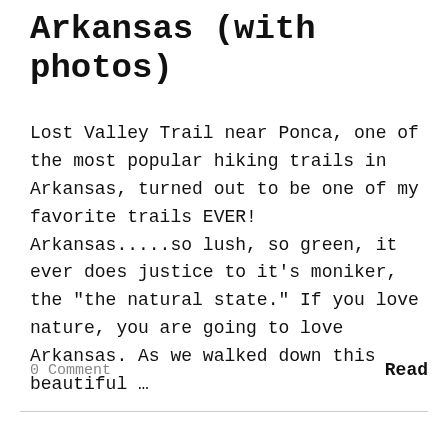Arkansas (with photos)
Lost Valley Trail near Ponca, one of the most popular hiking trails in Arkansas, turned out to be one of my favorite trails EVER! Arkansas.....so lush, so green, it ever does justice to it’s moniker, the “the natural state.” If you love nature, you are going to love Arkansas. As we walked down this beautiful …
0 Comment
Read